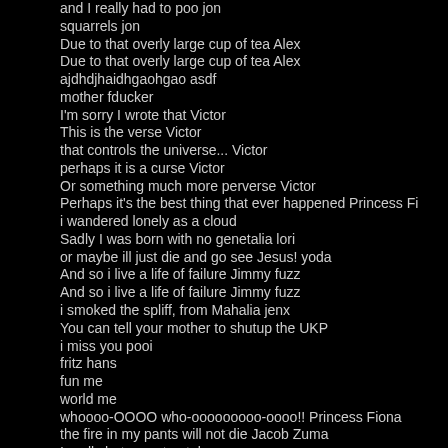and I really had to poo jon
squarrels jon
Due to that overly large cup of tea Alex
Due to that overly large cup of tea Alex
ajdhdjhaidhgaohgao asdf
mother fducker
I'm sorry I wrote that Victor
This is the verse Victor
that controls the universe... Victor
perhaps it is a curse Victor
Or something much more perverse Victor
Perhaps it's the best thing that ever happened Princess Fi
i wandered lonely as a cloud
Sadly I was born with no genetalia lori
or maybe ill just die and go see Jesus! yoda
And so i live a life of failure Jimmy fuzz
And so i live a life of failure Jimmy fuzz
i smoked the spliff, from Mahalia jenx
You can tell your mother to shutup the UKP
i miss you pooi
fritz hans
fun me
world me
whoooo-OOOO who-ooooooooo-oooo!! Princess Fiona
the fire in my pants will not die Jacob Zuma
I really hate you too taboo
so I drink many liters of lye JZ
If only you too were a jew! nelson :M.
the board in my brother's eye lawd
coo coo ca choo greenspan
In a few minutes, I'm going to watch a movie with my wife